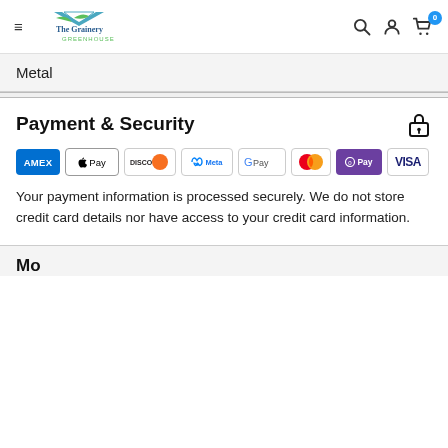The Grainery Greenhouse — navigation header with hamburger menu, search, account, and cart icons
Metal
Payment & Security
[Figure (other): Payment method logos: AMEX, Apple Pay, Discover, Meta Pay, Google Pay, Mastercard, Shop Pay, Visa]
Your payment information is processed securely. We do not store credit card details nor have access to your credit card information.
More...